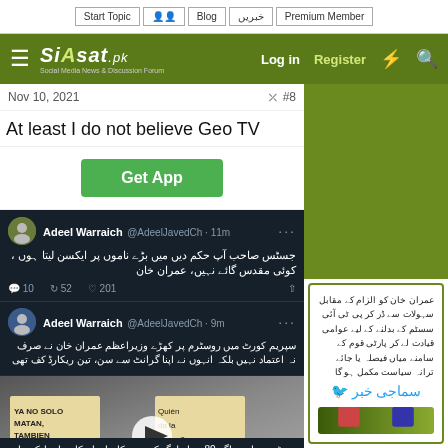Siasat.pk - Social Media News & Discussion Forum
Start Topic | Blog | خبریں | Premium Member | Log in | Register
Nov 10, 2021 #8
At least I do not believe Geo TV
[Figure (screenshot): Get App button in green]
[Figure (screenshot): Embedded tweets from Adeel Warraich @AdeelJavedCh showing Urdu text about justice and Supreme Court, with protest video showing signs 'YA NO SOLO MATAN, TAMBIEN VIOLAN' and 'Quién da la Orden? 6909']
[Figure (screenshot): Right side advertisement panel with Urdu text and photo of political figures]